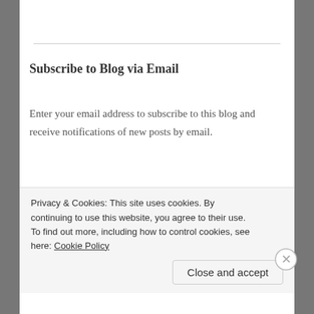Subscribe to Blog via Email
Enter your email address to subscribe to this blog and receive notifications of new posts by email.
Email Address
Subscribe
Privacy & Cookies: This site uses cookies. By continuing to use this website, you agree to their use.
To find out more, including how to control cookies, see here: Cookie Policy
Close and accept